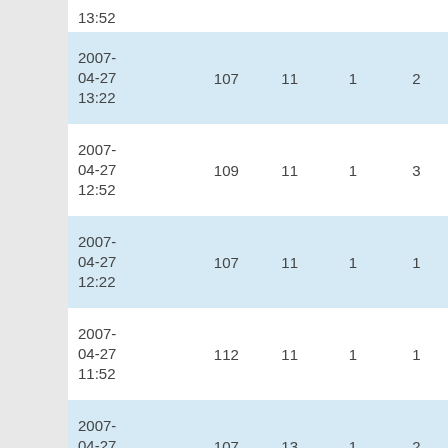| Date | Col2 | Col3 | Col4 | Col5 |
| --- | --- | --- | --- | --- |
| 2007-04-27 13:52 |  |  |  |  |
| 2007-04-27 13:22 | 107 | 11 | 1 | 2 |
| 2007-04-27 12:52 | 109 | 11 | 1 | 3 |
| 2007-04-27 12:22 | 107 | 11 | 1 | 1 |
| 2007-04-27 11:52 | 112 | 11 | 1 | 1 |
| 2007-04-27 11:22 | 107 | 13 | 1 | 2 |
| 2007-04-27 ... | 107 | 11 | 1 | 3 |